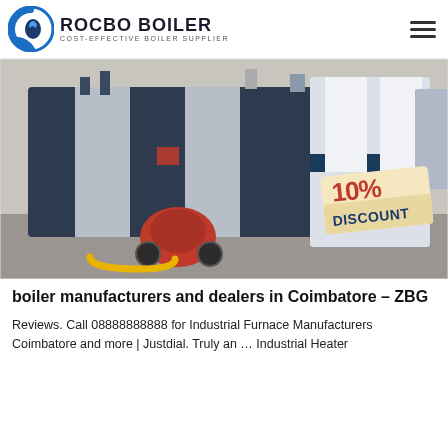ROCBO BOILER — COST-EFFECTIVE BOILER SUPPLIER
[Figure (photo): Industrial boilers/furnaces in a factory setting, with a red '10% DISCOUNT' badge overlaid in the bottom-right corner. Large dark blue/grey boiler units with silver panels and red burner component visible.]
boiler manufacturers and dealers in Coimbatore – ZBG
Reviews. Call 08888888888 for Industrial Furnace Manufacturers Coimbatore and more | Justdial. Truly an … Industrial Heater